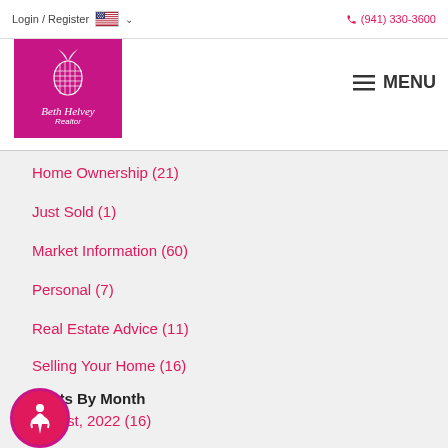Login / Register  🇺🇸 ∨   ☎ (941) 330-3600
[Figure (logo): Beth Helvey Realtor logo — magenta square with pineapple illustration and text 'Beth Helvey Realtor']
≡ MENU
Home Ownership  (21)
Just Sold  (1)
Market Information  (60)
Personal  (7)
Real Estate Advice  (11)
Selling Your Home  (16)
Posts By Month
August, 2022  (16)
July, 2022  (23)
June, 2022  (21)
View More